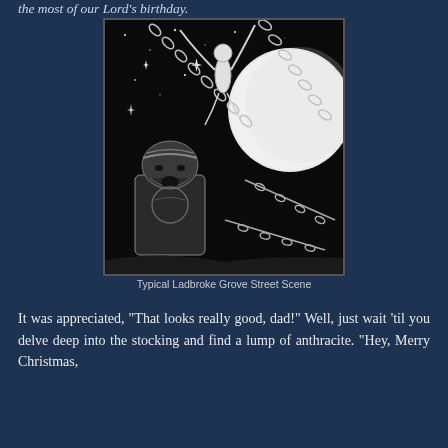the most of our Lord's birthday.
[Figure (illustration): Black and white comic/fantasy illustration showing a bearded Viking-like figure in the lower left, with chains and a floating angelic figure above, against a starry night sky with a large moon. Titled 'Typical Ladbroke Grove Street Scene'.]
Typical Ladbroke Grove Street Scene
It was appreciated, "That looks really good, dad!" Well, just wait 'til you delve deep into the stocking and find a lump of anthracite. "Hey, Merry Christmas,